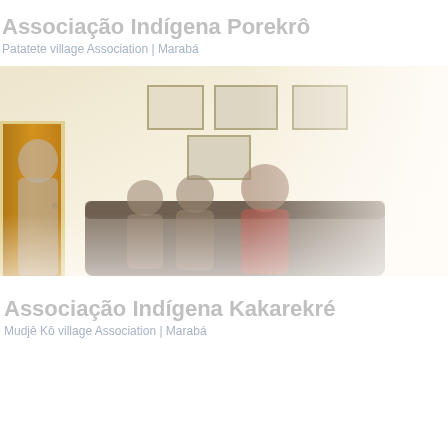Associação Indígena Porekrô
Patatete village Association | Marabá
[Figure (photo): Indoor photo showing people seated on a sofa inside a room with framed pictures on the wall and a yellow door on the left. One person stands near the door while several others are seated on dark sofas.]
Associação Indígena Kakarekré
Mudjê Kô village Association | Marabá